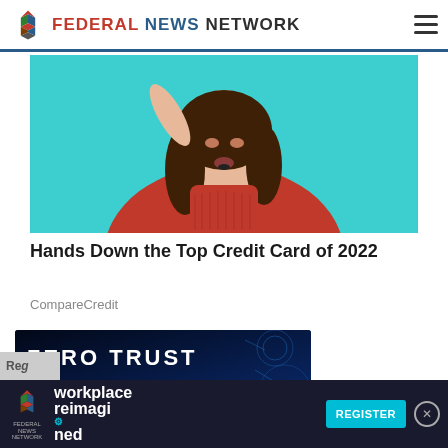Federal News Network
[Figure (photo): Woman in red turtleneck sweater posing against teal/cyan background, visible from shoulders up, mouth slightly open, hand raised near head.]
Hands Down the Top Credit Card of 2022
CompareCredit
[Figure (screenshot): Advertisement banner: 'ZERO TRUST CYBER EXCHANGE' on dark blue background with tech/circuit visual elements.]
[Figure (screenshot): Bottom advertisement banner: Federal News Network 'workplace reimagined' with REGISTER button in teal.]